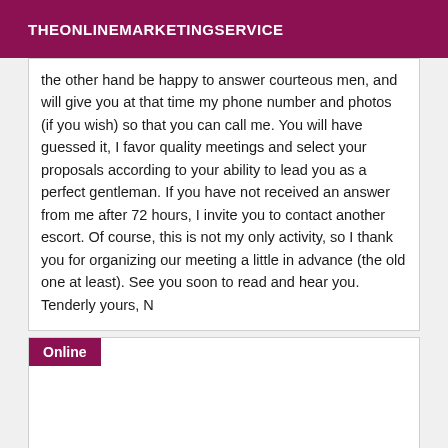THEONLINEMARKETINGSERVICE
the other hand be happy to answer courteous men, and will give you at that time my phone number and photos (if you wish) so that you can call me. You will have guessed it, I favor quality meetings and select your proposals according to your ability to lead you as a perfect gentleman. If you have not received an answer from me after 72 hours, I invite you to contact another escort. Of course, this is not my only activity, so I thank you for organizing our meeting a little in advance (the old one at least). See you soon to read and hear you. Tenderly yours, N
Online